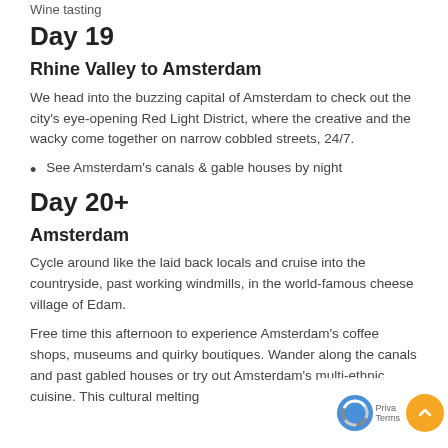Wine tasting
Day 19
Rhine Valley to Amsterdam
We head into the buzzing capital of Amsterdam to check out the city's eye-opening Red Light District, where the creative and the wacky come together on narrow cobbled streets, 24/7.
See Amsterdam's canals & gable houses by night
Day 20+
Amsterdam
Cycle around like the laid back locals and cruise into the countryside, past working windmills, in the world-famous cheese village of Edam.
Free time this afternoon to experience Amsterdam's coffee shops, museums and quirky boutiques. Wander along the canals and past gabled houses or try out Amsterdam's multi-ethnic cuisine. This cultural melting